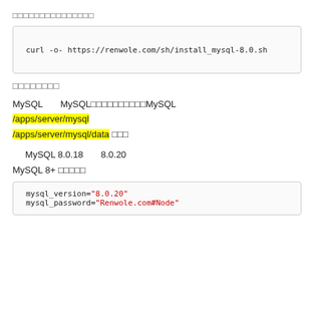□□□□□□□□□□□□□□□
curl -o- https://renwole.com/sh/install_mysql-8.0.sh
□□□□□□□□
MySQL  MySQL□□□□□□□□□□MySQL /apps/server/mysql /apps/server/mysql/data □□□
MySQL 8.0.18  8.0.20 MySQL 8+ □□□□□
mysql_version="8.0.20"
mysql_password="Renwole.com#Node"